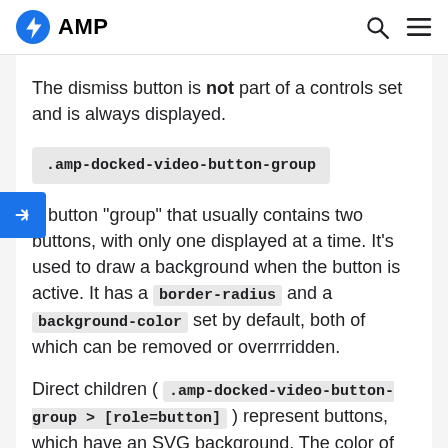AMP
The dismiss button is not part of a controls set and is always displayed.
.amp-docked-video-button-group
A button "group" that usually contains two buttons, with only one displayed at a time. It's used to draw a background when the button is active. It has a border-radius and a background-color set by default, both of which can be removed or overrrridden.
Direct children ( .amp-docked-video-button-group > [role=button] ) represent buttons, which have an SVG background. The color of the